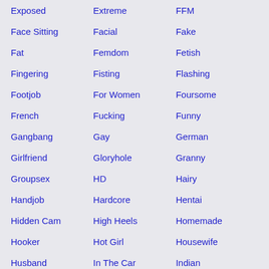Exposed
Extreme
FFM
Face Sitting
Facial
Fake
Fat
Femdom
Fetish
Fingering
Fisting
Flashing
Footjob
For Women
Foursome
French
Fucking
Funny
Gangbang
Gay
German
Girlfriend
Gloryhole
Granny
Groupsex
HD
Hairy
Handjob
Hardcore
Hentai
Hidden Cam
High Heels
Homemade
Hooker
Hot Girl
Housewife
Husband
In The Car
Indian